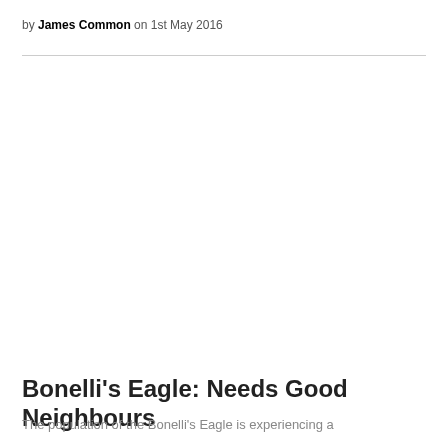by James Common on 1st May 2016
[Figure (photo): Large image placeholder area (image not rendered) for article about Bonelli's Eagle]
Bonelli's Eagle: Needs Good Neighbours
The population of the Bonelli's Eagle is experiencing a